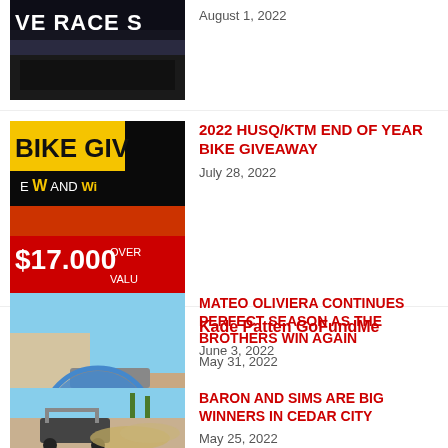[Figure (screenshot): Partial top item thumbnail showing racing scene with text 'VE RACE S']
August 1, 2022
[Figure (photo): Bike Giveaway promotional image showing $17,000 value text and bike giveaway graphics]
2022 HUSQ/KTM END OF YEAR BIKE GIVEAWAY
July 28, 2022
[Figure (photo): Photo of Kade Patten, a young man with a mustache at an outdoor event]
Kade Patten GoFundMe
June 3, 2022
[Figure (photo): Off-road racing scene with blue circular badge overlay]
MATEO OLIVIERA CONTINUES PERFECT SEASON AS THE BROTHERS WIN AGAIN
May 31, 2022
[Figure (photo): UTV/side-by-side vehicle racing on dirt track]
BARON AND SIMS ARE BIG WINNERS IN CEDAR CITY
May 25, 2022